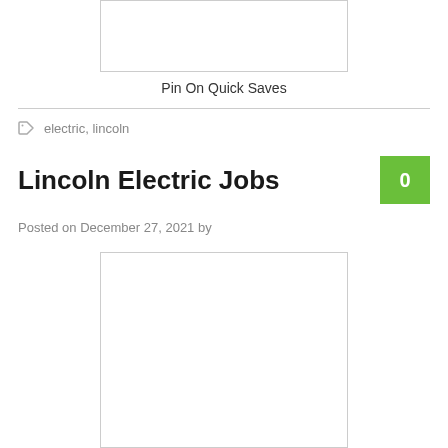[Figure (other): Empty white image box with light gray border, partially shown at top of page]
Pin On Quick Saves
electric, lincoln
Lincoln Electric Jobs
Posted on December 27, 2021 by
[Figure (other): Empty white image box with light gray border, partially shown at bottom of page]